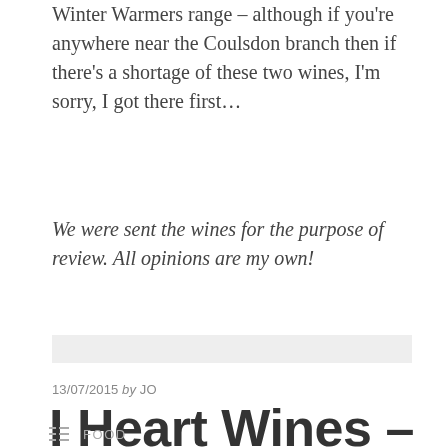Winter Warmers range – although if you're anywhere near the Coulsdon branch then if there's a shortage of these two wines, I'm sorry, I got there first…
We were sent the wines for the purpose of review. All opinions are my own!
13/07/2015 by JO
I Heart Wines – Pinot Grigio
FOOD